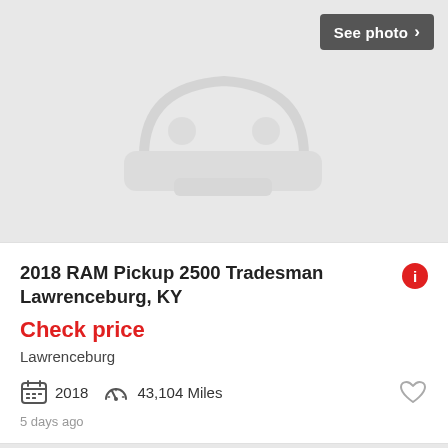[Figure (illustration): Car listing placeholder image (top) - gray car silhouette front view on light gray background with 'See photo' button]
2018 RAM Pickup 2500 Tradesman Lawrenceburg, KY
Check price
Lawrenceburg
2018   43,104 Miles
5 days ago
[Figure (illustration): Car listing placeholder image (bottom) - gray car silhouette front view on light gray background with 'See photo' button]